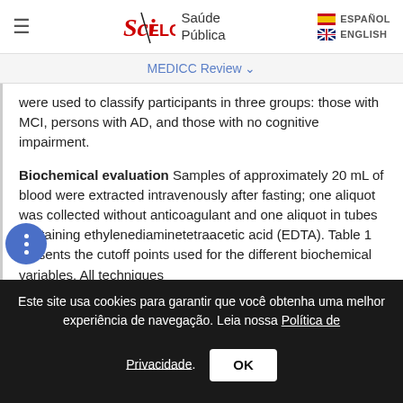SciELO Saúde Pública | ESPAÑOL | ENGLISH
MEDICC Review
were used to classify participants in three groups: those with MCI, persons with AD, and those with no cognitive impairment.
Biochemical evaluation Samples of approximately 20 mL of blood were extracted intravenously after fasting; one aliquot was collected without anticoagulant and one aliquot in tubes containing ethylenediaminetetraacetic acid (EDTA). Table 1 presents the cutoff points used for the different biochemical variables. All techniques
Este site usa cookies para garantir que você obtenha uma melhor experiência de navegação. Leia nossa Política de Privacidade.